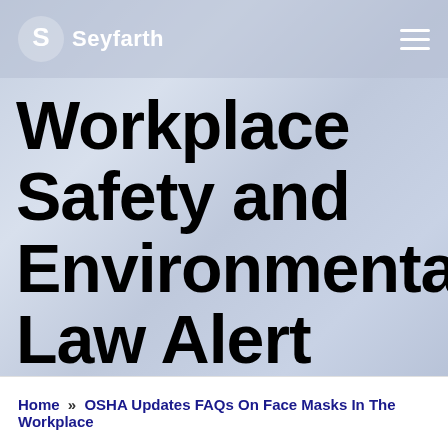Seyfarth
Workplace Safety and Environmental Law Alert Blog
Home » OSHA Updates FAQs On Face Masks In The Workplace